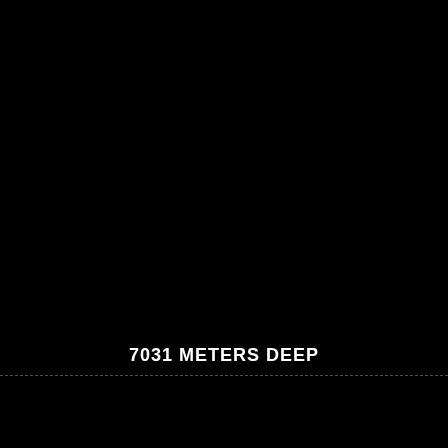[Figure (photo): Predominantly black image representing deep ocean darkness, approximately 7031 meters below the surface. A faint dashed horizontal line divides the image roughly 84% down from the top.]
7031 METERS DEEP